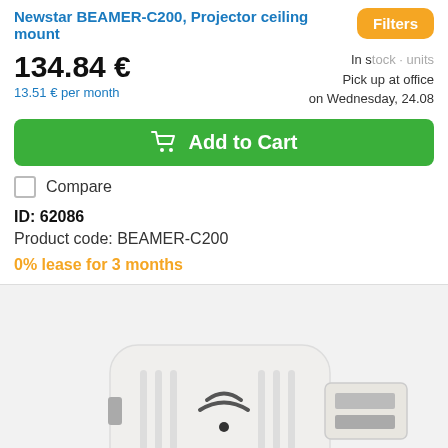Newstar BEAMER-C200, Projector ceiling mount
134.84 €
13.51 € per month
In stock · units
Pick up at office
on Wednesday, 24.08
Add to Cart
Compare
ID: 62086
Product code: BEAMER-C200
0% lease for 3 months
[Figure (photo): White USB WiFi adapter with wireless signal icon]